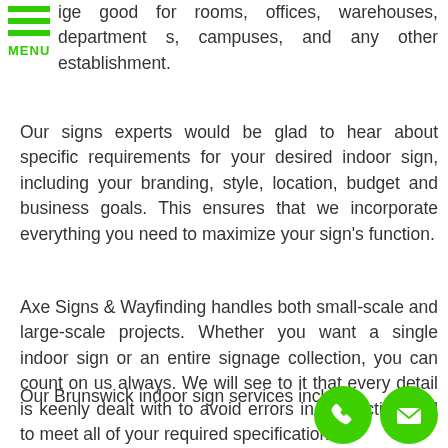[Figure (logo): Green hamburger menu icon with three horizontal green bars and the label MENU in green text below]
ige good for rooms, offices, warehouses, department s, campuses, and any other establishment.
Our signs experts would be glad to hear about specific requirements for your desired indoor sign, including your branding, style, location, budget and business goals. This ensures that we incorporate everything you need to maximize your sign's function.
Axe Signs & Wayfinding handles both small-scale and large-scale projects. Whether you want a single indoor sign or an entire signage collection, you can count on us always. We will see to it that every detail is keenly dealt with to avoid errors in production and to meet all of your required specifications.
Our Brunswick indoor sign services include:
[Figure (illustration): Two green circular icons at the bottom right: a phone/call icon and an email/envelope icon]